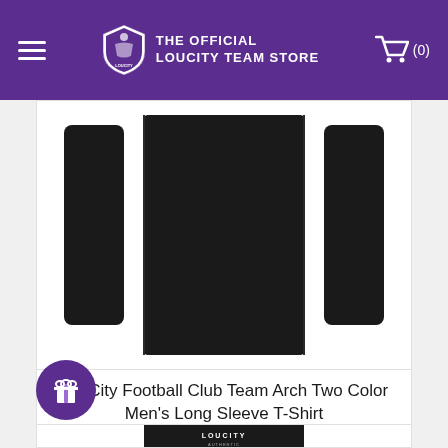THE OFFICIAL LOUCITY TEAM STORE
[Figure (photo): Black long sleeve t-shirt laid flat, showing front and back views]
LouCity Football Club Team Arch Two Color Men's Long Sleeve T-Shirt
$29.95
CHOOSE OPTIONS
[Figure (photo): Black t-shirt with LouCity branding, partially visible at bottom of page]